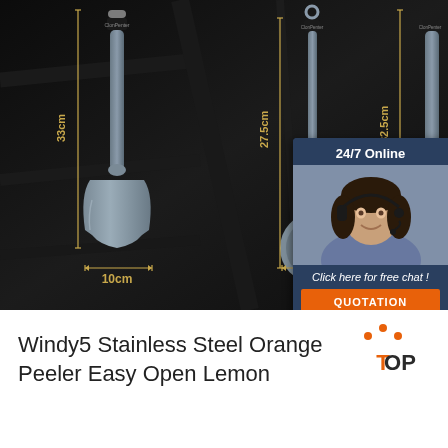[Figure (photo): Product photo of gray silicone kitchen utensils (spatula and ladle) on dark background with dimension measurements: spatula 33cm tall, 10cm wide; ladle 27.5cm tall, 8.6cm wide; third utensil 32.5cm tall. Overlay chat box: 24/7 Online, customer service photo, Click here for free chat!, QUOTATION button.]
Windy5 Stainless Steel Orange Peeler Easy Open Lemon